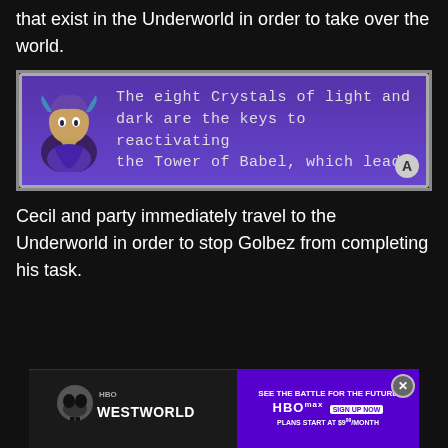that exist in the Underworld in order to take over the world.
[Figure (screenshot): Game screenshot showing a purple dialogue box with a character sprite on the left. Text reads: 'The eight Crystals of light and dark are the keys to reactivating the Tower of Babel, which leads']
Cecil and party immediately travel to the Underworld in order to stop Golbez from completing his task.
[Figure (screenshot): Advertisement banner for Westworld on HBO Max. Shows skull imagery on left, 'WESTWORLD' text, and on the right purple section: 'SEE THE BATTLE FOR THE FUTURE HBO MAX SIGN UP NOW PLANS START AT $9.99/MONTH'. Has a close (X) button.]